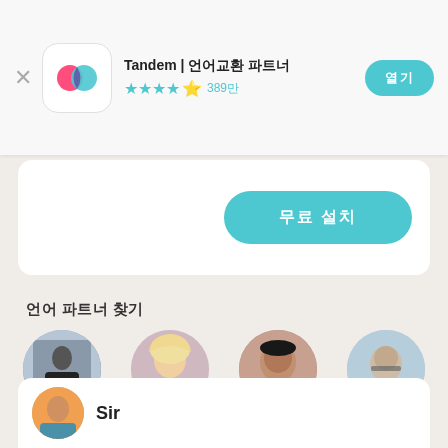[Figure (screenshot): App store listing for Tandem app with close button, app icon, title, star rating, and install button]
Tandem | 언어교환 파트너
★★★★⯨ 389만
열기
무료 설치
언어 파트너 찾기
[Figure (photo): Profile photo of Matt - man standing in city]
Matt
[Figure (photo): Profile photo of Lucy - blonde woman]
Lucy
[Figure (photo): Profile photo of Ryan - man selfie]
Ryan
[Figure (photo): Profile photo of 나탈 - man with glasses]
나탈
[Figure (photo): Profile photo of Sir - partial view]
Sir